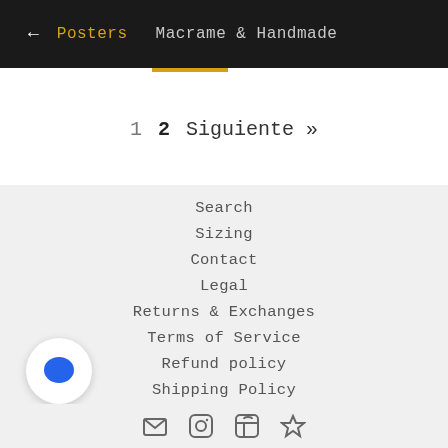← Posters   Macrame & Handmade
1  2  Siguiente »
Search
Sizing
Contact
Legal
Returns & Exchanges
Terms of Service
Refund policy
Shipping Policy
[Figure (illustration): Chat bubble icon (blue speech bubble on white circle)]
[Figure (illustration): Social media icons row at bottom (envelope, Facebook, Instagram, another)]